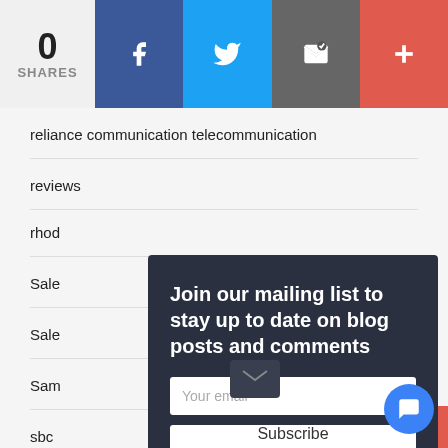[Figure (infographic): Social sharing bar with 0 shares count, Facebook (blue), Twitter (light blue), email (gray), and plus (red-orange) buttons]
reliance communication telecommunication
reviews
rhod
Sale
Sale
Sam
sbc
Scam Dusters
[Figure (screenshot): Modal overlay with dark background: 'Join our mailing list to stay up to date on blog posts and comments', email input field, Subscribe button, chat bubble icon, and email icon]